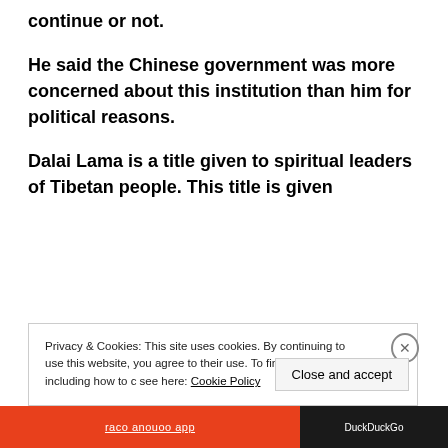continue or not.
He said the Chinese government was more concerned about this institution than him for political reasons.
Dalai Lama is a title given to spiritual leaders of Tibetan people. This title is given
Privacy & Cookies: This site uses cookies. By continuing to use this website, you agree to their use. To find out more, including how to control cookies, see here: Cookie Policy
Close and accept